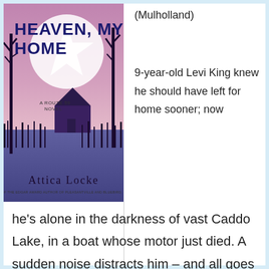[Figure (illustration): Book cover for 'Heaven, My Home' by Attica Locke, a Route 59 Novel (Mulholland). Cover shows a purple/pink sky with bare trees, a house with a star shape, and reeds reflected in water.]
(Mulholland)
9-year-old Levi King knew he should have left for home sooner; now he's alone in the darkness of vast Caddo Lake, in a boat whose motor just died. A sudden noise distracts him – and all goes dark.